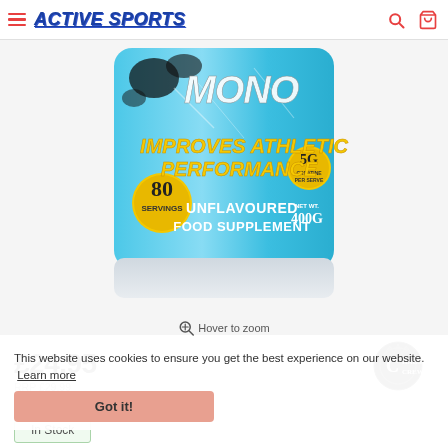ACTIVE SPORTS
[Figure (photo): Blue cylindrical tub of Chaos Crew Mono creatine supplement. Label reads: IMPROVES ATHLETIC PERFORMANCE, 80 SERVINGS, UNFLAVOURED FOOD SUPPLEMENT, 5G CREATINE PER SERVING, NET WT 400G. Bright blue with yellow and white text.]
Hover to zoom
This website uses cookies to ensure you get the best experience on our website. Learn more
£24.95
RRP £29.99
Save £5.04
Got it!
In Stock
[Figure (logo): Chaos Crew logo - circular emblem with crown and stylized text]